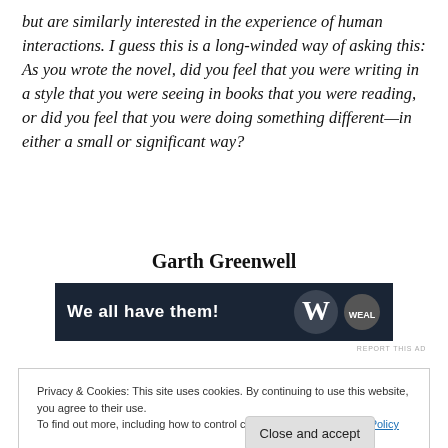but are similarly interested in the experience of human interactions. I guess this is a long-winded way of asking this: As you wrote the novel, did you feel that you were writing in a style that you were seeing in books that you were reading, or did you feel that you were doing something different—in either a small or significant way?
Garth Greenwell
[Figure (other): Advertisement banner with dark navy background reading 'We all have them!' with a W logo on the right]
REPORT THIS AD
Privacy & Cookies: This site uses cookies. By continuing to use this website, you agree to their use.
To find out more, including how to control cookies, see here: Cookie Policy
read The Turn of the Screw in high school. And he has a